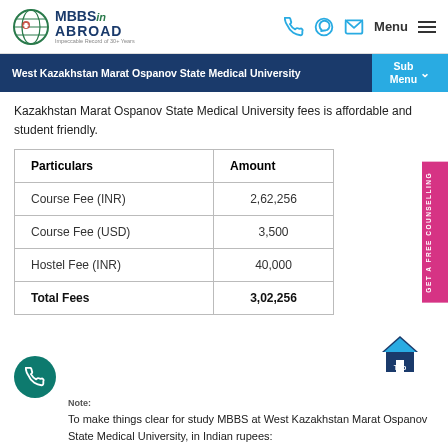MBBS in ABROAD - Impeccable Record of 30+ Years
West Kazakhstan Marat Ospanov State Medical University
Kazakhstan Marat Ospanov State Medical University fees is affordable and student friendly.
| Particulars | Amount |
| --- | --- |
| Course Fee (INR) | 2,62,256 |
| Course Fee (USD) | 3,500 |
| Hostel Fee (INR) | 40,000 |
| Total Fees | 3,02,256 |
To make things clear for study MBBS at West Kazakhstan Marat Ospanov State Medical University, in Indian rupees: